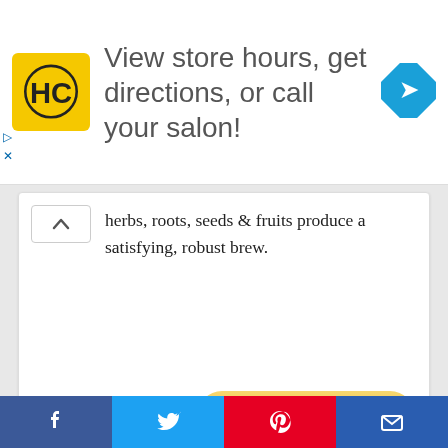[Figure (screenshot): Advertisement banner with HC salon logo and navigation icon. Text: 'View store hours, get directions, or call your salon!']
herbs, roots, seeds & fruits produce a satisfying, robust brew.
[Figure (other): Buy from Amazon button with Amazon logo]
5. APPLE CIDER VINEGAR GUMMY VITAMINS BY GOLI NUTRITION – IMMUNITY & DETOX – (1 PACK
[Figure (other): Partial product image at bottom of page]
Social share bar: Facebook, Twitter, Pinterest, Email